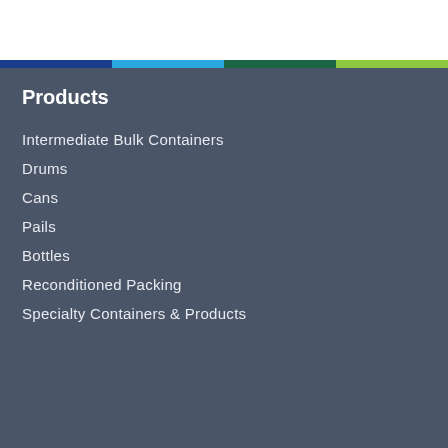Products
Intermediate Bulk Containers
Drums
Cans
Pails
Bottles
Reconditioned Packing
Specialty Containers & Products